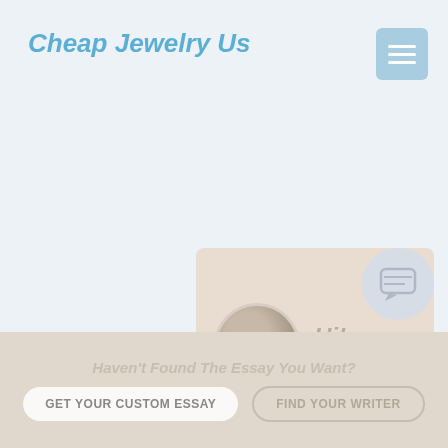Cheap Jewelry Us
[Figure (screenshot): Chat popup widget showing avatar, 'Hi!' greeting and 'I'm Dexter!' text with close X button, on a beige/tan background]
Would you like to get a custom essay? How about receiving a customized one?
MARCH 28, 20
Check it out
BUSINESS
COMMENTS OFF
[Figure (illustration): Chat bubble / comment icon circle in light gray]
Haven't Found The Essay You Want?
GET YOUR CUSTOM ESSAY
FIND YOUR WRITER